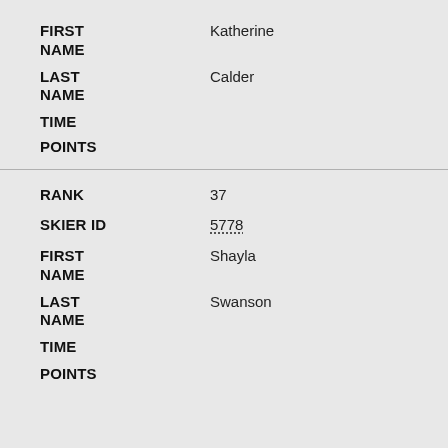FIRST NAME: Katherine
LAST NAME: Calder
TIME:
POINTS:
RANK: 37
SKIER ID: 5778
FIRST NAME: Shayla
LAST NAME: Swanson
TIME:
POINTS: